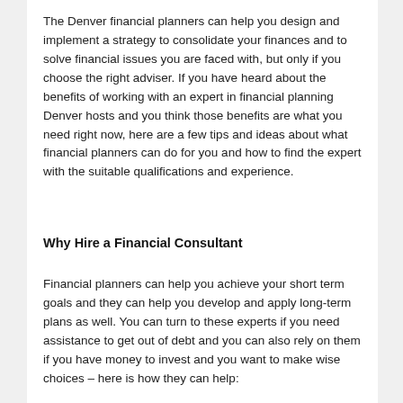The Denver financial planners can help you design and implement a strategy to consolidate your finances and to solve financial issues you are faced with, but only if you choose the right adviser. If you have heard about the benefits of working with an expert in financial planning Denver hosts and you think those benefits are what you need right now, here are a few tips and ideas about what financial planners can do for you and how to find the expert with the suitable qualifications and experience.
Why Hire a Financial Consultant
Financial planners can help you achieve your short term goals and they can help you develop and apply long-term plans as well. You can turn to these experts if you need assistance to get out of debt and you can also rely on them if you have money to invest and you want to make wise choices – here is how they can help:
They can carry out a realistic assessment of your finances,
They can identify the weaknesses in your current financial